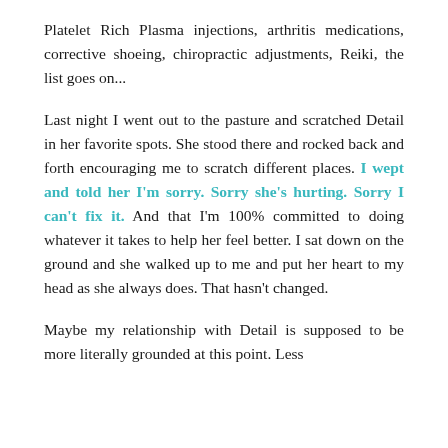Platelet Rich Plasma injections, arthritis medications, corrective shoeing, chiropractic adjustments, Reiki, the list goes on...
Last night I went out to the pasture and scratched Detail in her favorite spots. She stood there and rocked back and forth encouraging me to scratch different places. I wept and told her I'm sorry. Sorry she's hurting. Sorry I can't fix it. And that I'm 100% committed to doing whatever it takes to help her feel better. I sat down on the ground and she walked up to me and put her heart to my head as she always does. That hasn't changed.
Maybe my relationship with Detail is supposed to be more literally grounded at this point. Less